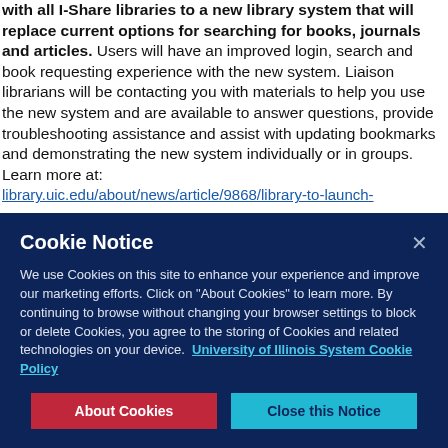with all I-Share libraries to a new library system that will replace current options for searching for books, journals and articles. Users will have an improved login, search and book requesting experience with the new system. Liaison librarians will be contacting you with materials to help you use the new system and are available to answer questions, provide troubleshooting assistance and assist with updating bookmarks and demonstrating the new system individually or in groups. Learn more at: library.uic.edu/about/news/article/9868/library-to-launch-
Cookie Notice

We use Cookies on this site to enhance your experience and improve our marketing efforts. Click on "About Cookies" to learn more. By continuing to browse without changing your browser settings to block or delete Cookies, you agree to the storing of Cookies and related technologies on your device. University of Illinois System Cookie Policy